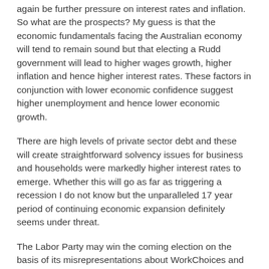again be further pressure on interest rates and inflation. So what are the prospects? My guess is that the economic fundamentals facing the Australian economy will tend to remain sound but that electing a Rudd government will lead to higher wages growth, higher inflation and hence higher interest rates. These factors in conjunction with lower economic confidence suggest higher unemployment and hence lower economic growth.
There are high levels of private sector debt and these will create straightforward solvency issues for business and households were markedly higher interest rates to emerge. Whether this will go as far as triggering a recession I do not know but the unparalleled 17 year period of continuing economic expansion definitely seems under threat.
The Labor Party may win the coming election on the basis of its misrepresentations about WorkChoices and its scurrilous abuse of John Howard but the successful economic management it has delivered has created an explosively growing economy that presents problems for Labor.